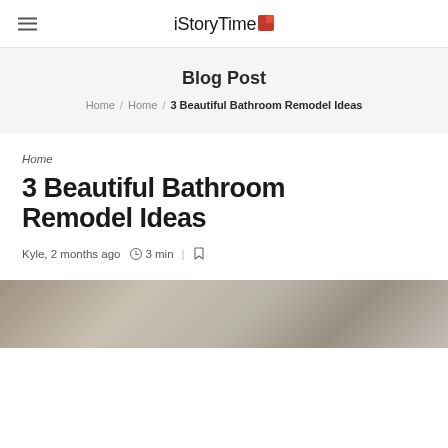iStoryTime
Blog Post
Home / Home / 3 Beautiful Bathroom Remodel Ideas
Home
3 Beautiful Bathroom Remodel Ideas
Kyle, 2 months ago   3 min
[Figure (photo): Bathroom remodel photo collage]